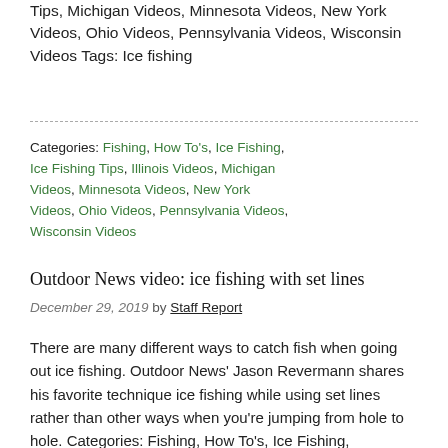Tips, Michigan Videos, Minnesota Videos, New York Videos, Ohio Videos, Pennsylvania Videos, Wisconsin Videos Tags: Ice fishing
Categories: Fishing, How To's, Ice Fishing, Ice Fishing Tips, Illinois Videos, Michigan Videos, Minnesota Videos, New York Videos, Ohio Videos, Pennsylvania Videos, Wisconsin Videos
Outdoor News video: ice fishing with set lines
December 29, 2019 by Staff Report
There are many different ways to catch fish when going out ice fishing. Outdoor News' Jason Revermann shares his favorite technique ice fishing while using set lines rather than other ways when you're jumping from hole to hole. Categories: Fishing, How To's, Ice Fishing, Ice Fishing Tips, Illinois Videos, Michigan Videos,